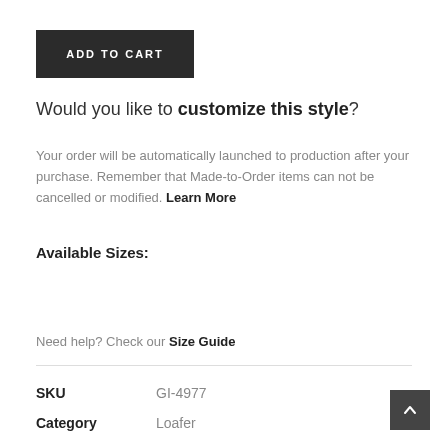ADD TO CART
Would you like to customize this style?
Your order will be automatically launched to production after your purchase. Remember that Made-to-Order items can not be cancelled or modified. Learn More
Available Sizes:
Need help? Check our Size Guide
| Field | Value |
| --- | --- |
| SKU | GI-4977 |
| Category | Loafer |